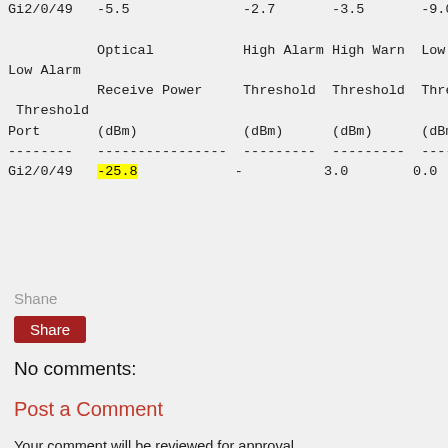| Port | Optical Receive Power (dBm) | High Alarm Threshold (dBm) | High Warn Threshold (dBm) | Low Warn Threshold (dBm) | Low Alarm Threshold (dBm) |
| --- | --- | --- | --- | --- | --- |
| Gi2/0/49 | -5.5 | -2.7 | -3.5 | -9.0 | -9.9 |
| Gi2/0/49 | -25.8 | - | 3.0 | 0.0 | -23.0 | -26.0 |
Shane
Share
No comments:
Post a Comment
Your comment will be reviewed for approval.
Thank you for submitting your comments.